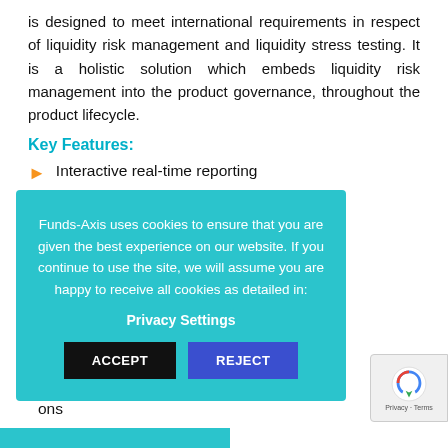is designed to meet international requirements in respect of liquidity risk management and liquidity stress testing. It is a holistic solution which embeds liquidity risk management into the product governance, throughout the product lifecycle.
Key Features:
Interactive real-time reporting
[partially obscured] tor dealing &
[partially obscured] y risk
[partially obscured] ons
Funds-Axis uses cookies to ensure that you are given the best experience on our website. If you continue to use the site, we will assume you are happy to receive all cookies as detailed in: Privacy Settings
ACCEPT | REJECT